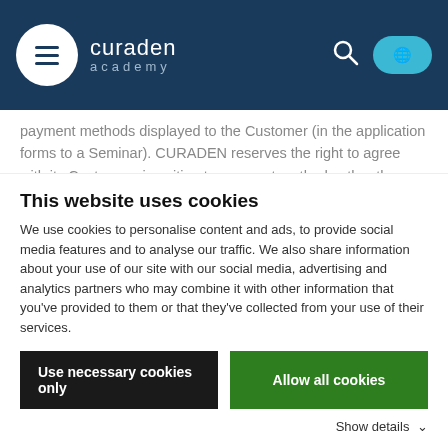curaden academy — navigation header with menu, search, and language button
payment methods displayed to the Customer (in the application forms to a Seminar). CURADEN reserves the right to agree with its Customers in writing to payment methods other than those displayed.
CURADEN may demand without stating any reasons cash in advance. The application will be processed after receipt of payment.
The Seminar fee and forwarding expenses (if any) are due and payable upon formation of the contract. If cash in advance by bank transfer is agreed upon, the payment is due and payable
This website uses cookies
We use cookies to personalise content and ads, to provide social media features and to analyse our traffic. We also share information about your use of our site with our social media, advertising and analytics partners who may combine it with other information that you've provided to them or that they've collected from your use of their services.
Use necessary cookies only
Allow all cookies
Show details